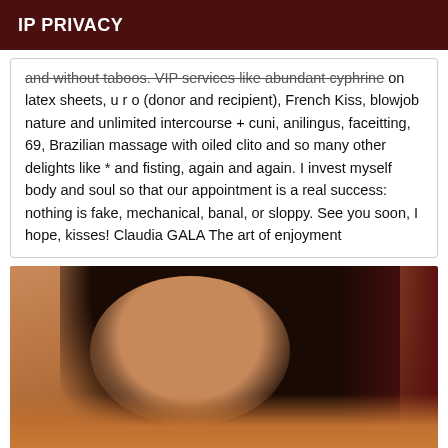IP PRIVACY
and without taboos. VIP services like abundant cyphrine on latex sheets, u r o (donor and recipient), French Kiss, blowjob nature and unlimited intercourse + cuni, anilingus, faceitting, 69, Brazilian massage with oiled clito and so many other delights like * and fisting, again and again. I invest myself body and soul so that our appointment is a real success: nothing is fake, mechanical, banal, or sloppy. See you soon, I hope, kisses! Claudia GALA The art of enjoyment
[Figure (photo): Close-up photo of a woman with long dark hair, partial face visible, wearing an orange/yellow top, dark red background on the right side]